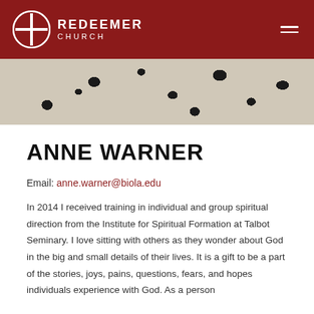REDEEMER CHURCH
[Figure (photo): Close-up photo of a person wearing a black and white leopard print garment, cropped to show fabric detail]
ANNE WARNER
Email: anne.warner@biola.edu
In 2014 I received training in individual and group spiritual direction from the Institute for Spiritual Formation at Talbot Seminary. I love sitting with others as they wonder about God in the big and small details of their lives. It is a gift to be a part of the stories, joys, pains, questions, fears, and hopes individuals experience with God. As a person